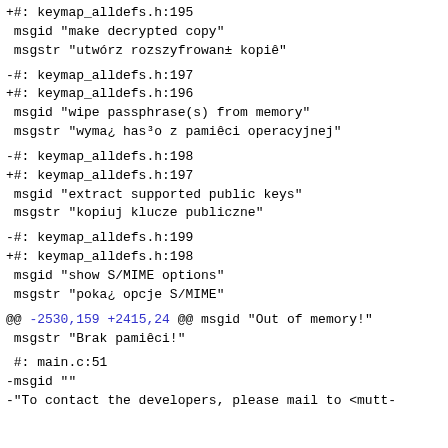+#: keymap_alldefs.h:195
 msgid "make decrypted copy"
 msgstr "utwórz rozszyfrowan± kopię"
-#: keymap_alldefs.h:197
+#: keymap_alldefs.h:196
 msgid "wipe passphrase(s) from memory"
 msgstr "wyma¿ has³o z pamiêci operacyjnej"
-#: keymap_alldefs.h:198
+#: keymap_alldefs.h:197
 msgid "extract supported public keys"
 msgstr "kopiuj klucze publiczne"
-#: keymap_alldefs.h:199
+#: keymap_alldefs.h:198
 msgid "show S/MIME options"
 msgstr "poka¿ opcje S/MIME"
@@ -2530,159 +2415,24 @@ msgid "Out of memory!"
 msgstr "Brak pamiêci!"
#: main.c:51
-msgid ""
-"To contact the developers, please mail to <mutt-